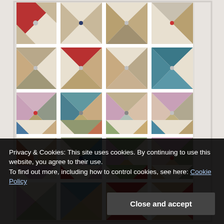[Figure (photo): A decorative quilt pattern with pinwheel/fan blocks arranged in a grid. The blocks use various fabrics in muted tones: reds, tans, blues, greens, pinks, and cream. White sashing separates the blocks. The pattern repeats across approximately 4 columns and 5+ rows visible.]
Privacy & Cookies: This site uses cookies. By continuing to use this website, you agree to their use.
To find out more, including how to control cookies, see here: Cookie Policy
Close and accept